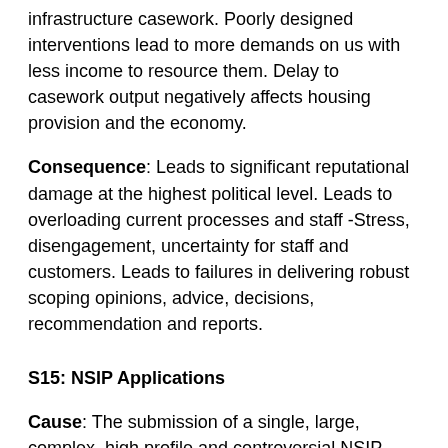infrastructure casework. Poorly designed interventions lead to more demands on us with less income to resource them. Delay to casework output negatively affects housing provision and the economy.
Consequence: Leads to significant reputational damage at the highest political level. Leads to overloading current processes and staff -Stress, disengagement, uncertainty for staff and customers. Leads to failures in delivering robust scoping opinions, advice, decisions, recommendation and reports.
S15: NSIP Applications
Cause: The submission of a single, large, complex, high profile and controversial NSIP